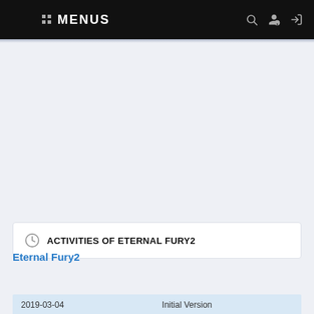MENUS
ACTIVITIES OF ETERNAL FURY2
Eternal Fury2
| Date | Description |
| --- | --- |
| 2019-03-04 | Initial Version |